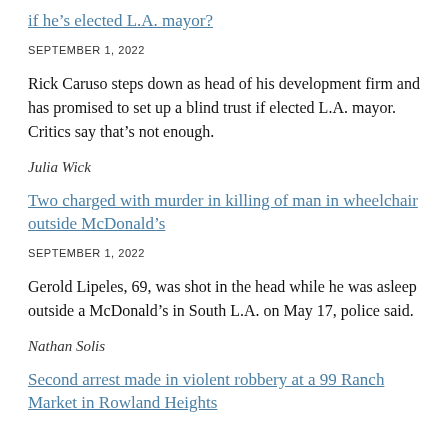if he's elected L.A. mayor?
SEPTEMBER 1, 2022
Rick Caruso steps down as head of his development firm and has promised to set up a blind trust if elected L.A. mayor. Critics say that's not enough.
Julia Wick
Two charged with murder in killing of man in wheelchair outside McDonald's
SEPTEMBER 1, 2022
Gerold Lipeles, 69, was shot in the head while he was asleep outside a McDonald's in South L.A. on May 17, police said.
Nathan Solis
Second arrest made in violent robbery at a 99 Ranch Market in Rowland Heights